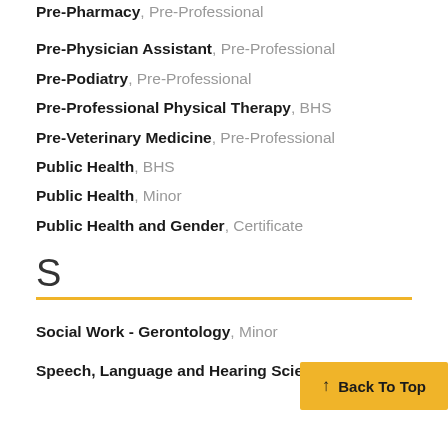Pre-Pharmacy, Pre-Professional
Pre-Physician Assistant, Pre-Professional
Pre-Podiatry, Pre-Professional
Pre-Professional Physical Therapy, BHS
Pre-Veterinary Medicine, Pre-Professional
Public Health, BHS
Public Health, Minor
Public Health and Gender, Certificate
S
Social Work - Gerontology, Minor
Speech, Language and Hearing Sciences, BHS